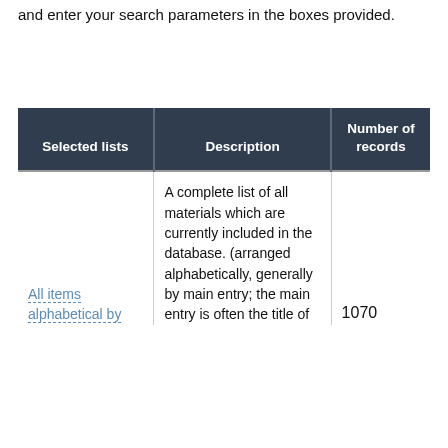and enter your search parameters in the boxes provided.
| Selected lists | Description | Number of records |
| --- | --- | --- |
| All items alphabetical by | A complete list of all materials which are currently included in the database. (arranged alphabetically, generally by main entry; the main entry is often the title of... | 1070 |